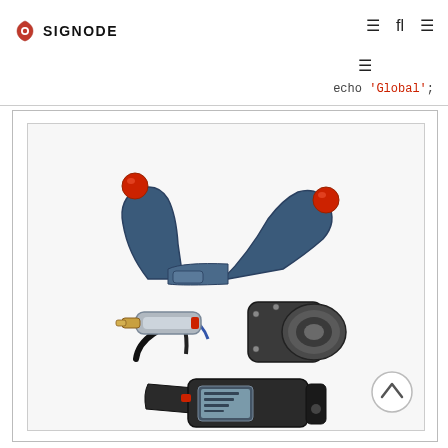[Figure (logo): Signode company logo with shield/pin icon and SIGNODE text]
Navigation icons and echo 'Global'; language selector
[Figure (photo): Industrial pneumatic strapping tools and components including a tensioner with red-tipped handles, a pneumatic sealer/tool body with hose connection and brass fitting, and a battery-powered strapping tool with digital display]